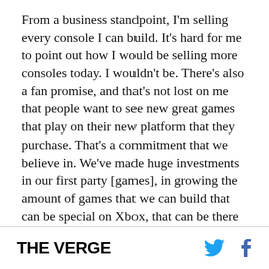From a business standpoint, I'm selling every console I can build. It's hard for me to point out how I would be selling more consoles today. I wouldn't be. There's also a fan promise, and that's not lost on me that people want to see new great games that play on their new platform that they purchase. That's a commitment that we believe in. We've made huge investments in our first party [games], in growing the amount of games that we can build that can be special on Xbox, that can be there for our Xbox fans, so that they feel like they made the right purchase.
[Halo] was a miss on our part. I wouldn't change the
THE VERGE